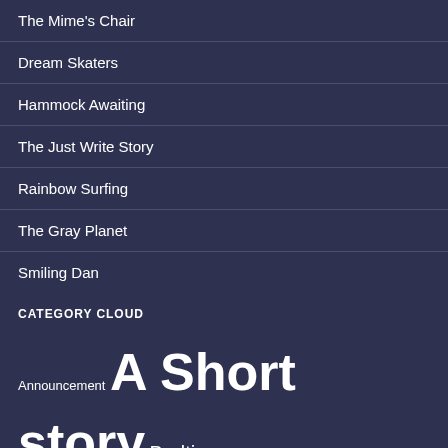The Mime's Chair
Dream Skaters
Hammock Awaiting
The Just Write Story
Rainbow Surfing
The Gray Planet
Smiling Dan
CATEGORY CLOUD
Announcement A Short story Bedtime Story Children's story Fable Fairy Tale From the